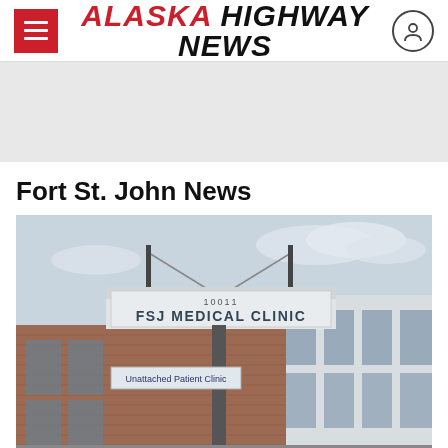Alaska Highway News
[Figure (other): Gray advertisement/banner placeholder band]
Fort St. John News
[Figure (photo): Exterior photo of FSJ Medical Clinic building with a large sign reading '10011 FSJ MEDICAL CLINIC' and a smaller sign 'Unattached Patient Clinic'. Brick building with large windows under a cloudy sky.]